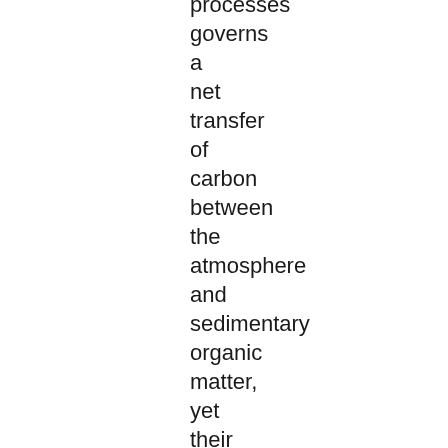processes governs a net transfer of carbon between the atmosphere and sedimentary organic matter, yet their relative importance following a large